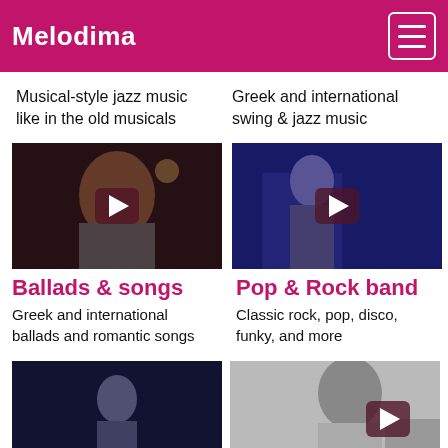Melodima
Musical-style jazz music like in the old musicals
Greek and international swing & jazz music
[Figure (photo): Video thumbnail of a woman singer with play button overlay]
Ballads & songs
Greek and international ballads and romantic songs
[Figure (photo): Video thumbnail of a guitarist on stage with play button overlay]
Pop & Rock band
Classic rock, pop, disco, funky, and more
[Figure (photo): Video thumbnail of a woman performing on stage]
[Figure (photo): Video thumbnail of a person with play button overlay]